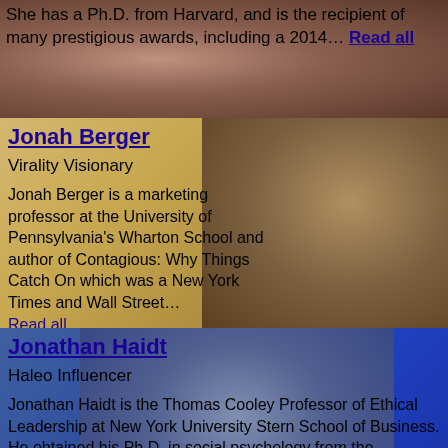She has a Ph.D. from Harvard, and is the recipient of many prestigious awards, including a 2014… Read all
Jonah Berger
Virality Visionary
Jonah Berger is a marketing professor at the University of Pennsylvania's Wharton School and author of Contagious: Why Things Catch On which was a New York Times and Wall Street… Read all
Jonathan Haidt
Haleo Influencer
Jonathan Haidt is the Thomas Cooley Professor of Ethical Leadership at New York University Stern School of Business. He obtained his Ph.D. in social psychology from the University of Pennsylvania in… Read all
Jordan Harbinger